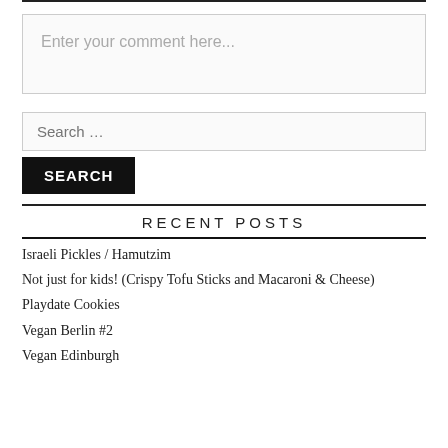Enter your comment here...
Search …
SEARCH
RECENT POSTS
Israeli Pickles / Hamutzim
Not just for kids! (Crispy Tofu Sticks and Macaroni & Cheese)
Playdate Cookies
Vegan Berlin #2
Vegan Edinburgh